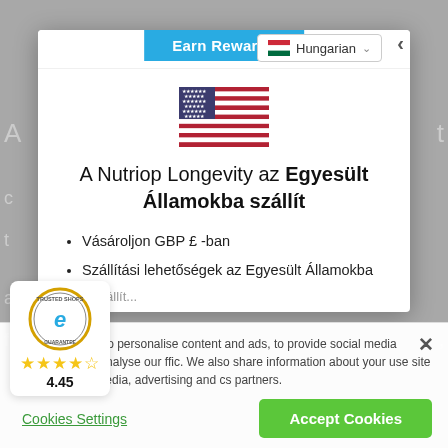[Figure (screenshot): Website modal dialog showing Nutriop Longevity shipping to United States, with US flag, language selector showing Hungarian, bullet list of shipping options, overlaid on a web page background with cookie consent banner and Trusted Shops badge.]
Earn Rewards
Hungarian
A Nutriop Longevity az Egyesült Államokba szállít
Vásároljon GBP £ -ban
Szállítási lehetőségek az Egyesült Államokba
We use cookies to personalise content and ads, to provide social media features and to analyse our ffic. We also share information about your use site with our social media, advertising and cs partners.
Cookies Settings
Accept Cookies
4.45